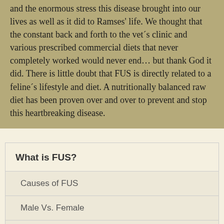and the enormous stress this disease brought into our lives as well as it did to Ramses' life. We thought that the constant back and forth to the vet´s clinic and various prescribed commercial diets that never completely worked would never end… but thank God it did. There is little doubt that FUS is directly related to a feline´s lifestyle and diet. A nutritionally balanced raw diet has been proven over and over to prevent and stop this heartbreaking disease.
What is FUS?
Causes of FUS
Male Vs. Female
Symptoms
Diagnosis